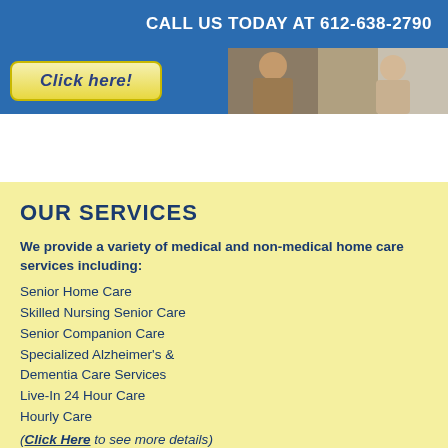CALL US TODAY AT 612-638-2790
[Figure (photo): Banner with a yellow 'Click here!' button on a blue background, and two elderly people visible on the right side.]
OUR SERVICES
We provide a variety of medical and non-medical home care services including:
Senior Home Care
Skilled Nursing Senior Care
Senior Companion Care
Specialized Alzheimer's & Dementia Care Services
Live-In 24 Hour Care
Hourly Care
(Click Here to see more details)